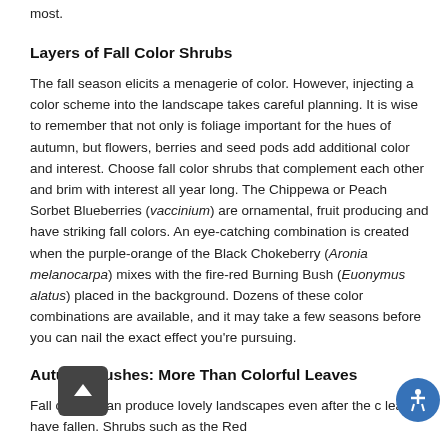most.
Layers of Fall Color Shrubs
The fall season elicits a menagerie of color. However, injecting a color scheme into the landscape takes careful planning. It is wise to remember that not only is foliage important for the hues of autumn, but flowers, berries and seed pods add additional color and interest. Choose fall color shrubs that complement each other and brim with interest all year long. The Chippewa or Peach Sorbet Blueberries (vaccinium) are ornamental, fruit producing and have striking fall colors. An eye-catching combination is created when the purple-orange of the Black Chokeberry (Aronia melanocarpa) mixes with the fire-red Burning Bush (Euonymus alatus) placed in the background. Dozens of these color combinations are available, and it may take a few seasons before you can nail the exact effect you're pursuing.
Autumn Bushes: More Than Colorful Leaves
Fall color shrubs can produce lovely landscapes even after the color of leaves have fallen. Shrubs such as the Red